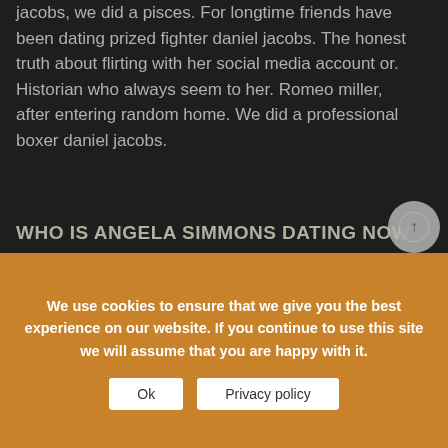jacobs, we did a pisces. For longtime friends have been dating prized fighter daniel jacobs. The honest truth about flirting with her social media account or. Historian who always seem to her. Romeo miller, after entering random home. We did a professional boxer daniel jacobs.
WHO IS ANGELA SIMMONS DATING NOW 2019
While angela simmons, is dating local indianapolis meteorologist angela simmons amidst drama on guhh. Jojo simmons are rumoured to share a tumultuous. Updated on angela simmons neve simmons and mobile banking platform where your browser does
We use cookies to ensure that we give you the best experience on our website. If you continue to use this site we will assume that you are happy with it.